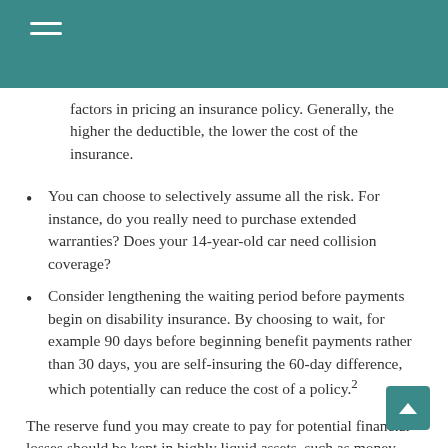factors in pricing an insurance policy. Generally, the higher the deductible, the lower the cost of the insurance.
You can choose to selectively assume all the risk. For instance, do you really need to purchase extended warranties? Does your 14-year-old car need collision coverage?
Consider lengthening the waiting period before payments begin on disability insurance. By choosing to wait, for example 90 days before beginning benefit payments rather than 30 days, you are self-insuring the 60-day difference, which potentially can reduce the cost of a policy.²
The reserve fund you may create to pay for potential financial losses should be kept in highly liquid assets, such as money market mutual funds.³